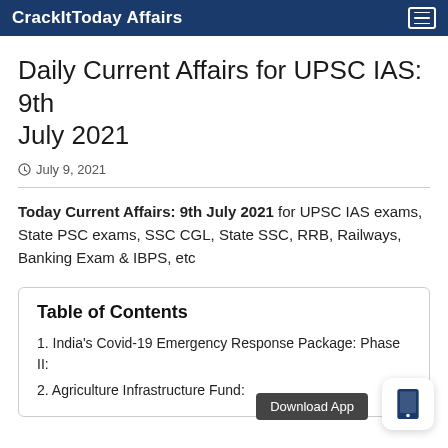CrackItToday Affairs
Daily Current Affairs for UPSC IAS: 9th July 2021
July 9, 2021
Today Current Affairs: 9th July 2021 for UPSC IAS exams, State PSC exams, SSC CGL, State SSC, RRB, Railways, Banking Exam & IBPS, etc
Table of Contents
1. India's Covid-19 Emergency Response Package: Phase II:
2. Agriculture Infrastructure Fund: